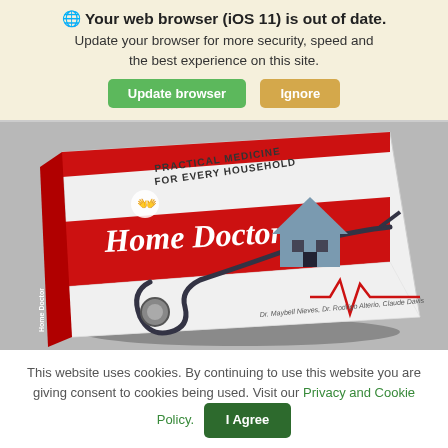🌐 Your web browser (iOS 11) is out of date. Update your browser for more security, speed and the best experience on this site. [Update browser] [Ignore]
[Figure (photo): A physical book titled 'Home Doctor: Practical Medicine for Every Household' lying on a gray surface. The book cover is white and red with a stethoscope, a house icon, and a heartbeat line. Authors listed as Dr. Maybell Nieves, Dr. Rodrigo Alterio, Claude Davis.]
This website uses cookies. By continuing to use this website you are giving consent to cookies being used. Visit our Privacy and Cookie Policy. [I Agree]